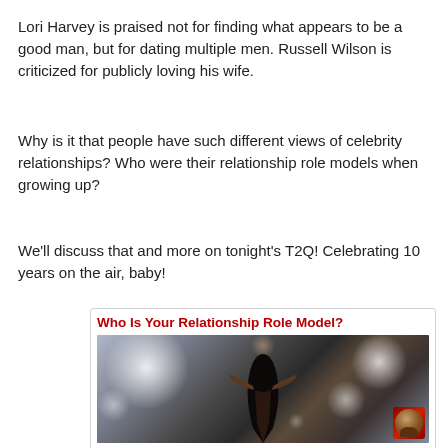Lori Harvey is praised not for finding what appears to be a good man, but for dating multiple men. Russell Wilson is criticized for publicly loving his wife.
Why is it that people have such different views of celebrity relationships? Who were their relationship role models when growing up?
We'll discuss that and more on tonight's T2Q!  Celebrating 10 years on the air, baby!
[Figure (illustration): Card with bold red title 'Who Is Your Relationship Role Model?' above a dark photo showing a woman silhouette with arms spread wide in front of a crowd with bokeh lights, and a small avatar badge in the bottom right corner. Footer text: 'the Talk 2 Q Radio Show' and 'www.Talk2Q.com']